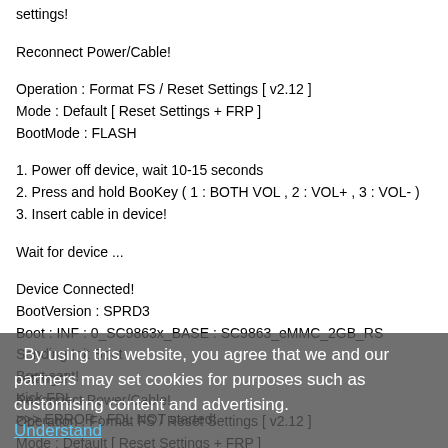settings!
Reconnect Power/Cable!
Operation : Format FS / Reset Settings [ v2.12 ]
Mode : Default [ Reset Settings + FRP ]
BootMode : FLASH
1. Power off device, wait 10-15 seconds
2. Press and hold BooKey ( 1 : BOTH VOL , 2 : VOL+ , 3 : VOL- )
3. Insert cable in device!
Wait for device ...
Device Connected!
BootVersion : SPRD3
Boot : INF : 0_SC9863x_BASE : SC9863_eMMC_2GB_RS
Sending Init Boot ...
Boot sent!
Kick FDL ...
>>> ERROR : FDL NOT started!
>>> Error : Fail to boot FDL!
>>> Unsupported device with selected fdl or settings! Change settings!
Reconnect Power/Cable!
Operation : Format FS / Reset Settings [ v2.12 ]
Mode : Default [ Reset Settings + FRP ]
By using this website, you agree that we and our partners may set cookies for purposes such as customising content and advertising.